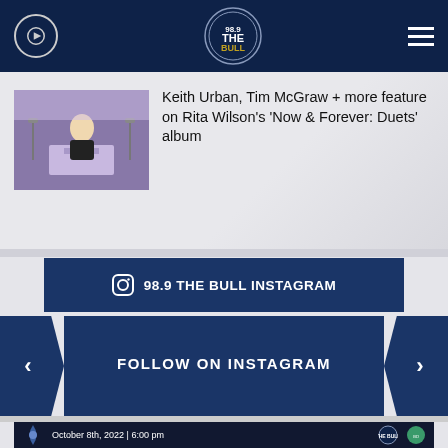98.9 THE BULL — Navigation header with play button and menu
[Figure (photo): Rita Wilson speaking at a podium in a black outfit at an event]
Keith Urban, Tim McGraw + more feature on Rita Wilson's 'Now & Forever: Duets' album
98.9 THE BULL INSTAGRAM
FOLLOW ON INSTAGRAM
[Figure (screenshot): Bottom banner: October 8th, 2022 | 6:00 pm event promotion with 98.9 Bull and Birthday Dreams logos]